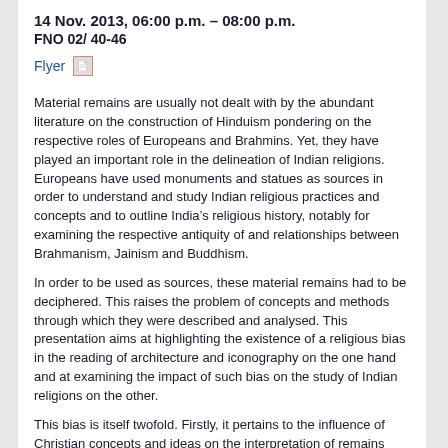14 Nov. 2013, 06:00 p.m. – 08:00 p.m.
FNO 02/ 40-46
Flyer [pdf icon]
Material remains are usually not dealt with by the abundant literature on the construction of Hinduism pondering on the respective roles of Europeans and Brahmins. Yet, they have played an important role in the delineation of Indian religions. Europeans have used monuments and statues as sources in order to understand and study Indian religious practices and concepts and to outline India's religious history, notably for examining the respective antiquity of and relationships between Brahmanism, Jainism and Buddhism.
In order to be used as sources, these material remains had to be deciphered. This raises the problem of concepts and methods through which they were described and analysed. This presentation aims at highlighting the existence of a religious bias in the reading of architecture and iconography on the one hand and at examining the impact of such bias on the study of Indian religions on the other.
This bias is itself twofold. Firstly, it pertains to the influence of Christian concepts and ideas on the interpretation of remains belonging to what came to be called the religion of the Gentiles, idolatry or the religion of the Hindus. Secondly, it relates to the influence of Brahmanical concepts through the resort to Brahmin informants, who tended to absorb Jain and Buddhist remains within